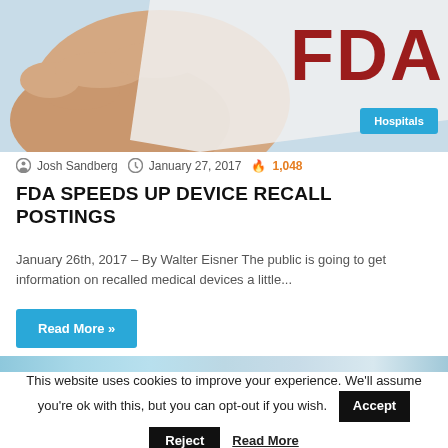[Figure (photo): Close-up of a hand holding a piece of paper with large red FDA letters visible in the top right corner, with a light blue background.]
Hospitals
Josh Sandberg  January 27, 2017  1,048
FDA SPEEDS UP DEVICE RECALL POSTINGS
January 26th, 2017 – By Walter Eisner The public is going to get information on recalled medical devices a little...
Read More »
[Figure (photo): Partial view of the next article hero image — gradient blue strip.]
This website uses cookies to improve your experience. We'll assume you're ok with this, but you can opt-out if you wish.
Accept
Reject
Read More